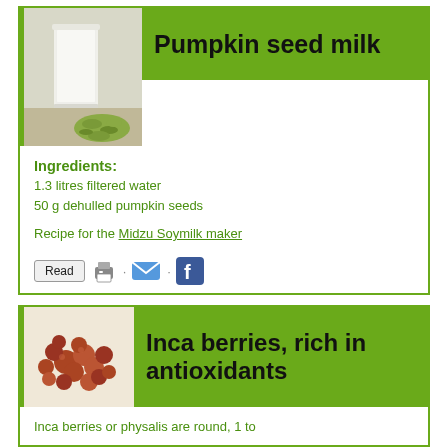[Figure (photo): Glass of white milk with pumpkin seeds beside it]
Pumpkin seed milk
Ingredients: 1.3 litres filtered water 50 g dehulled pumpkin seeds
Recipe for the Midzu Soymilk maker
[Figure (photo): Pile of small brown/red Inca berries (physalis)]
Inca berries, rich in antioxidants
Inca berries or physalis are round, 1 to